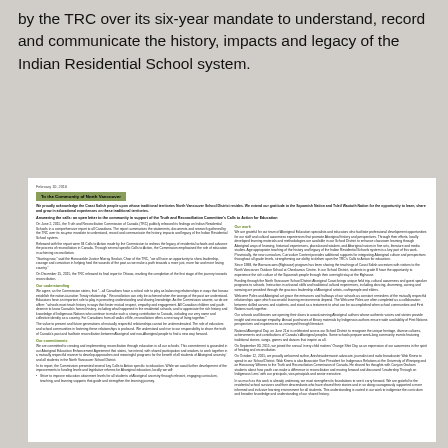by the TRC over its six-year mandate to understand, record and communicate the history, impacts and legacy of the Indian Residential School system.
February 10, 2016
To the Community of North Vancouver
We proudly acknowledge the Coast Salish people upon whose traditional territories North Vancouver School District resides. We extend our gratitude to the Squamish Nation and Tsleil Waututh Nation for the opportunity to learn, share and grow in educational experiences on these traditional territories.
Answering the calls: an open letter to the community in support of the Truth and Reconciliation Committee's Calls to Action for Education
On June 2, 2015, the Truth and Reconciliation Commission of Canada (TRC) publicly released its findings on Indian Residential Schools in a comprehensive report to all Canadians. The report summarises the statements, documents and research gathered by the TRC over its six-year mandate to understand, record and communicate the history, impacts and legacy of the Indian Residential School system.
Released with the report were 94 Calls to Action made by the Commission to redress the legacy of residential schools and advance the process of reconciliation in Canada. Through several specific Calls to Action, the Commission emphasised the role of education in achieving reconciliation.
"Starting now," said the Honourable Justice Murray Sinclair, Chair of the TRC, "we all have an opportunity to show leadership, courage and conviction in helping heal the wounds of the past as we make a path towards a more just, more fair and more loving country."
On December 15, 2015, the TRC released its final report in Ottawa, marking the completion of the first stage of the journey towards reconciliation.
Our understanding
We agree, as the Commission states, that "...all Canadians have a critical role to play as balancing relationships in ways that honour establish the nation-to-nation Treaty relationship." Reconciliation can only be achieved when the wrongs of the past are understood. Educators have an important role to play in promoting understanding and sharing knowledge. As the Commission asserts, so do we affirm: "schools must teach history in ways that foster mutual respect, empathy and engagement. All Canadian children and youth deserve to know Canada's honest history, including what happened in the residential schools, and to appreciate the rich history and knowledge of Indigenous Nations who continue to make such a strong contribution to Canada, including our very name and collective identity as a country. For Canadians from all walks of life, reconciliation offers a new way of living together."
The value to present and future generations of mutually respectful relationships cannot be underestimated. The role of educators and school communities in fostering these relationships is profound. We understand and rise to our responsibility to share the truth of Canada's past and facilitate reconciliation between Aboriginal and non-Aboriginal people to find a new way forward.
Our commitments
We are committed to creating and implementing reconciliation through education in all our schools. This commitment is grounded in our Aboriginal Education Enhancement Agreement that states, 'we intend, with shared participation and wisdom, to work together in a mutually respectful manner to develop approaches and meaningful programs for the benefit of all students of Aboriginal ancestry' and all students in the North Vancouver School District.
In its report, the Commission presented several key Calls to Action specific to education. While we await further development of the improvements to funding levels and legislative reforms for Aboriginal education, locally we will:
Strive to improve education attainment levels for all students of Aboriginal ancestry through relevant, engaging curriculum, teaching, and learning supports that guide and strengthen the learning journey.
Our work
We are grateful for our team of Aboriginal Education specialists and educators who facilitate professional development opportunities for our staff and cultural awareness experiences that promote Aboriginal history and perspectives. Through their efforts, locally developed learning materials and methodologies are available in our School District to enhance classroom learning through Aboriginal ways of knowing, historical experiences, place-based wisdom, and Aboriginal voices in fine arts, literature and media studies. Age appropriate teaching of the history and legacy of the Indian Residential Schools system is a key part of this work. Provincially, the new curriculum, Curriculum Content provides additional supports for integrating Aboriginal culture and perspectives throughout all grade levels, strengthening our ability to deliver upon the TRC's Calls to Action for education.
Since 1988, the Barnave-wes (Bighouse) program has been sharing the teachings of Coast Salish ancestors with visitors to the North Vancouver Outdoor School at Cheakamus Centre. In our School District, students in grade 8 have the opportunity to experience the rich culture of the Squamish people through their overnight stay at the Bighouse.
Funding through the North Vancouver School District Aboriginal Coast brings unique field trip, cultural awareness and guest speaker programs to schools. Instruction in artisanal skills and traditional cultural experiences, including dancing, drumming, carving and weaving are provided through the gracious leadership of Aboriginal artists, craftspeople and elders.
Welcome Poles and Aboriginal art grace the entrances and hallways of our schools as constant reminders of the mutually respectful relationships upon which successful learning environments depend. The Welcome Poles are often completed as a collaboration between skilled carvers and students, and stand as a testament to what can be accomplished when school communities and First Nations work together.
Our schools and libraries are opening their doors to award-winning Aboriginal authors whose authentic voices and stories provide insight and encourage empathy. Annual purchases of library materials by Indigenous authors ensure wide availability of First Nations perspectives and experiences as conveyed through literature.
National Aboriginal Day, on June 21st is celebrated across our School District to recognize the unique heritage, diverse cultures, achievements and contributions of Canada's Aboriginal peoples. Some schools prepare week-long community events featuring traditional stories, songs, games and dances that inspire us all.
On September 30, 2015, we joined the annual 'every child matters' Orange Shirt Day as an expression of our awareness in the spirit of healing and reconciliation.
On October 12, 2015, we proudly welcomed author, Anishinaabemowin advocate, journalist and radio broadcaster Wab Kinew to speak in our School District. Wab Kinew is also Associate Vice President for Indigenous Relations at the University of Winnipeg and an Honourary Witness to the Truth and Reconciliation Commission of Canada. He shared his thoughts with Canyon Graham students about how youth can make a difference in reconciliation and moving forward and discussed 'Leadership Through an Indigenous Lens' with our principals, vice-principals and senior executive.
In as much as this work is already underway, we must strengthen its foundations to see it carry forward. We are grateful to the residential school survivors and their descendants who have shared their stories and in so doing courageously supported a more informed and inclusive learning environment for all students. This understanding is rooted in our work to indigenize the curriculum and broaden knowledge and understanding of our shared history.